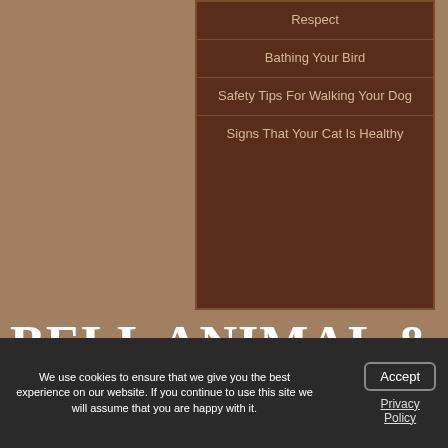Respect
Bathing Your Bird
Safety Tips For Walking Your Dog
Signs That Your Cat Is Healthy
BELL ANIMAL & BIRD HOSPITAL
4336 W Bell Rd. #7
Glendale, AZ 85308
We use cookies to ensure that we give you the best experience on our website. If you continue to use this site we will assume that you are happy with it.
Accept
Privacy Policy